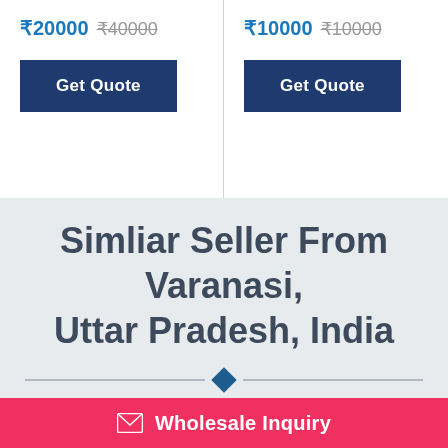₹20000  ₹40000
₹10000  ₹10000
Get Quote
Get Quote
Simliar Seller From Varanasi, Uttar Pradesh, India
Rajasthani Rasoi
varanasi
Home Delivery Restaurant
Rajasthani Thali Restaurant
Wholesale Inquiry